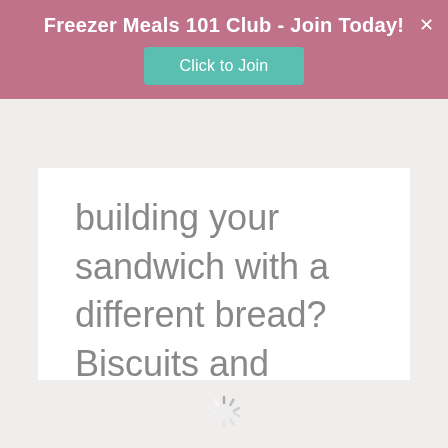Freezer Meals 101 Club - Join Today!
building your sandwich with a different bread? Biscuits and croissants make great bread options for your homemade breakfasts sandwiches.
[Figure (other): Loading spinner icon at the bottom center of the page]